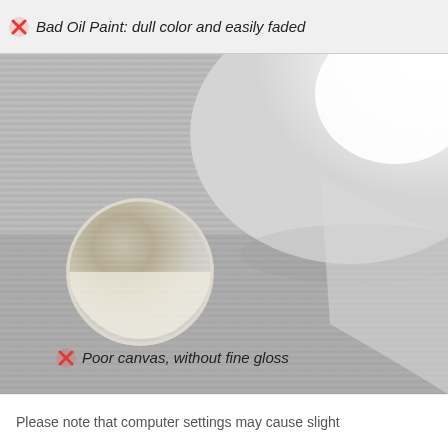[Figure (photo): Product comparison image showing bad oil paint with dull color, labeled with red X mark and text 'Bad Oil Paint: dull color and easily faded']
[Figure (photo): Close-up photo of poor canvas texture without fine gloss, with a circular inset showing the canvas weave detail, labeled with red X and text 'Poor canvas, without fine gloss']
Please note that computer settings may cause slight